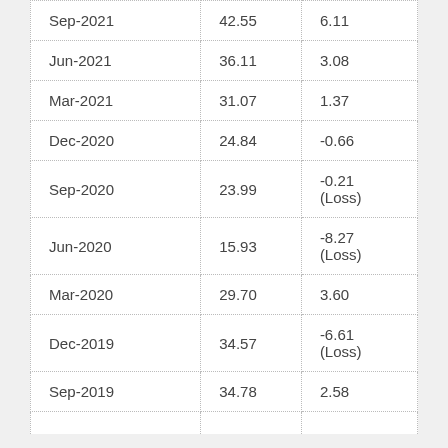| Sep-2021 | 42.55 | 6.11 |
| Jun-2021 | 36.11 | 3.08 |
| Mar-2021 | 31.07 | 1.37 |
| Dec-2020 | 24.84 | -0.66 |
| Sep-2020 | 23.99 | -0.21 (Loss) |
| Jun-2020 | 15.93 | -8.27 (Loss) |
| Mar-2020 | 29.70 | 3.60 |
| Dec-2019 | 34.57 | -6.61  (Loss) |
| Sep-2019 | 34.78 | 2.58 |
| Jun-2019 | ... | ... |